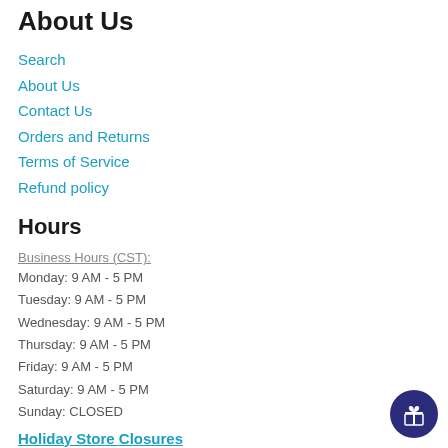About Us
Search
About Us
Contact Us
Orders and Returns
Terms of Service
Refund policy
Hours
Business Hours (CST):
Monday: 9 AM - 5 PM
Tuesday: 9 AM - 5 PM
Wednesday: 9 AM - 5 PM
Thursday: 9 AM - 5 PM
Friday: 9 AM - 5 PM
Saturday: 9 AM - 5 PM
Sunday: CLOSED
Holiday Store Closures